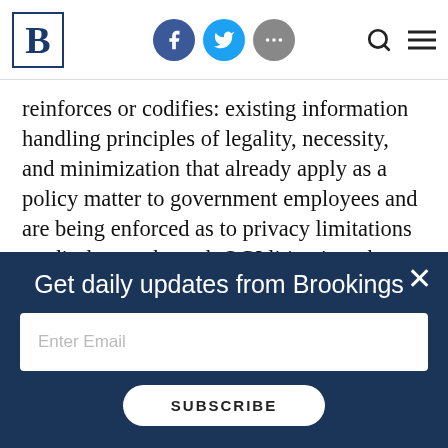Brookings Institution website header with logo, social icons (Facebook, Twitter, more), search, and menu
reinforces or codifies: existing information handling principles of legality, necessity, and minimization that already apply as a policy matter to government employees and are being enforced as to privacy limitations on disclosure through OGI litigation; the privacy protection obligation of all public employees, which has been criminally enforced against
Get daily updates from Brookings
Enter Email
SUBSCRIBE